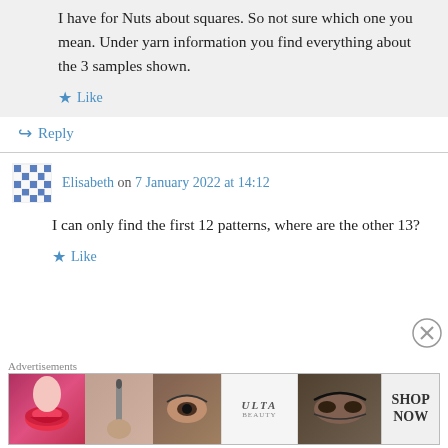I have for Nuts about squares. So not sure which one you mean. Under yarn information you find everything about the 3 samples shown.
★ Like
↪ Reply
Elisabeth on 7 January 2022 at 14:12
I can only find the first 12 patterns, where are the other 13?
★ Like
Advertisements
[Figure (photo): ULTA beauty advertisement banner with makeup images and SHOP NOW call to action]